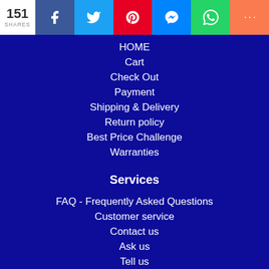151 SHARES | Facebook | Twitter | Pinterest | Messenger | WhatsApp | More
HOME
Cart
Check Out
Payment
Shipping & Delivery
Return policy
Best Price Challenge
Warranties
Services
FAQ - Frequently Asked Questions
Customer service
Contact us
Ask us
Tell us
News Blog
Twitter News Feed